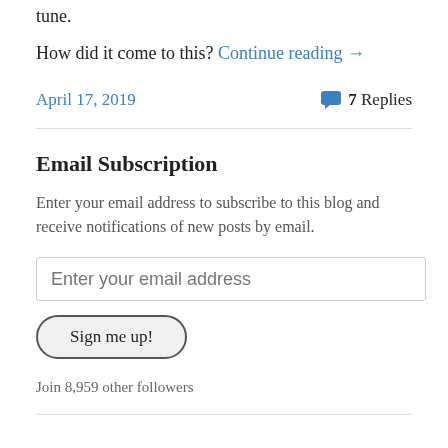tune.
How did it come to this? Continue reading →
April 17, 2019
7 Replies
Email Subscription
Enter your email address to subscribe to this blog and receive notifications of new posts by email.
Enter your email address
Sign me up!
Join 8,959 other followers